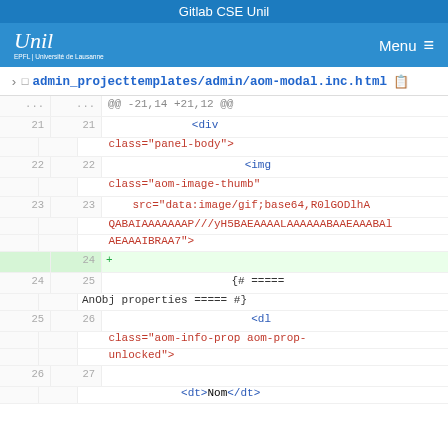Gitlab CSE Unil
[Figure (screenshot): GitLab navigation bar with UNIL logo and Menu hamburger icon]
admin_projecttemplates/admin/aom-modal.inc.html
@@ -21,14 +21,12 @@
21  21      <div
      class="panel-body">
22  22                                  <img
      class="aom-image-thumb"
23  23  
      src="data:image/gif;base64,R0lGODlhAQABAIAAAAAAAAP///yH5BAEAAAAALAAAAAABAAEAAAICRAAAAwA7">
24  +
24  25                          {# ===== AnObj properties ===== #}
25  26                          <dl
      class="aom-info-prop aom-prop-unlocked">
26  27  
      <dt>Nom</dt>